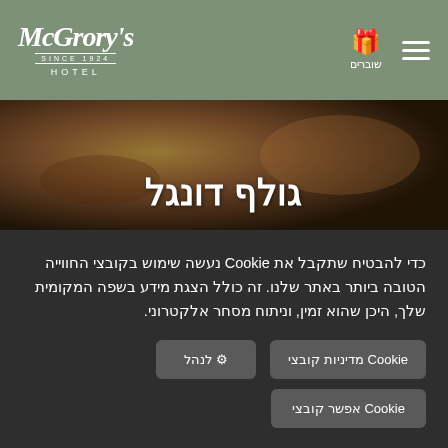[Figure (logo): McGrory's Hotel logo — white italic script on sage green header background]
[Figure (infographic): Gift/voucher icon with Hebrew label שוברים and hamburger menu icon, both white on sage green header]
[Figure (photo): Hero image with warm golden-brown tones, person lying down visible, with large white Hebrew text גולף דונגל overlaid]
כדי להבטיח שתקבל את Cookie נעשה שימוש בקובצי החווייה הטובה ביותר באתר שלנו. זה כולל הצגת מידע בשפה המקומית שלך, היכן שהוא זמין, וניתוח מסחר אלקטרוני.
Cookie מדיניות קובצי
לנהל
Cookie אפשר קובצי